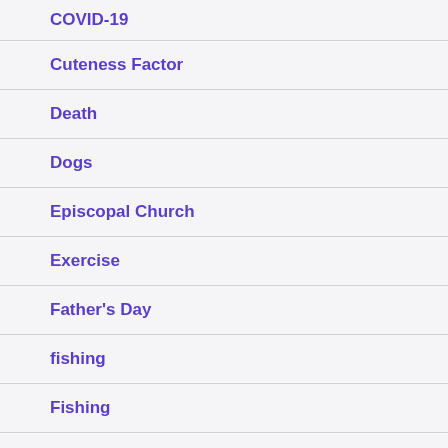COVID-19
Cuteness Factor
Death
Dogs
Episcopal Church
Exercise
Father's Day
fishing
Fishing